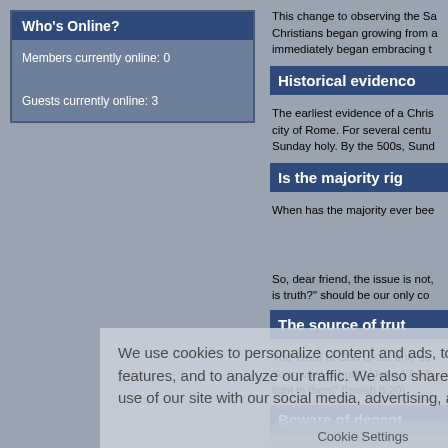Who's Online?
Members currently online: 0
Guests currently online: 3
This change to observing the Sa... Christians began growing from a... immediately began embracing t...
Historical evidenc...
The earliest evidence of a Chris... city of Rome. For several centu... Sunday holy. By the 500s, Sund...
Is the majority rig...
When has the majority ever bee...
So, dear friend, the issue is not, is truth?" should be our only co...
The source of trut...
The Word of God is our only so... Your word is truth" (John 17:17)... light in them" (Isaiah 8:20).
Beware of decent...
We use cookies to personalize content and ads, to provide social media features, and to analyze our traffic. We also share information about your use of our site with our social media, advertising, and analytics partners.
Cookie Settings